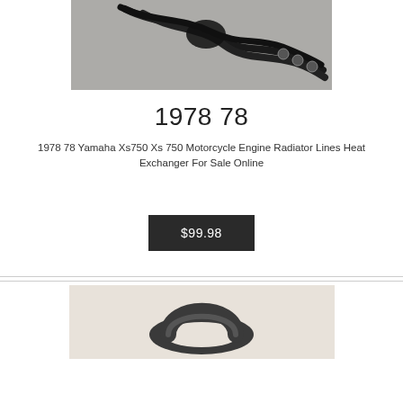[Figure (photo): Photo of motorcycle engine radiator hose lines tangled on a gray surface]
1978 78
1978 78 Yamaha Xs750 Xs 750 Motorcycle Engine Radiator Lines Heat Exchanger For Sale Online
$99.98
[Figure (photo): Photo of a motorcycle part (appears to be a rubber seal or gasket) on a light beige background]